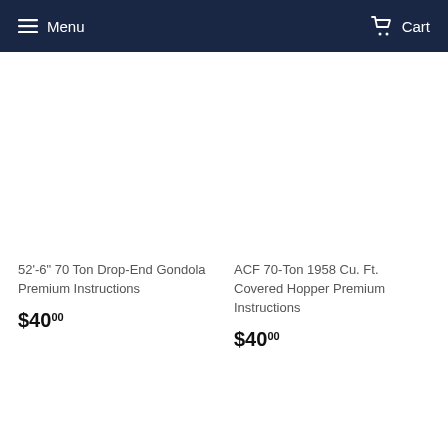Menu   Cart
52'-6" 70 Ton Drop-End Gondola Premium Instructions
$40.00
ACF 70-Ton 1958 Cu. Ft. Covered Hopper Premium Instructions
$40.00